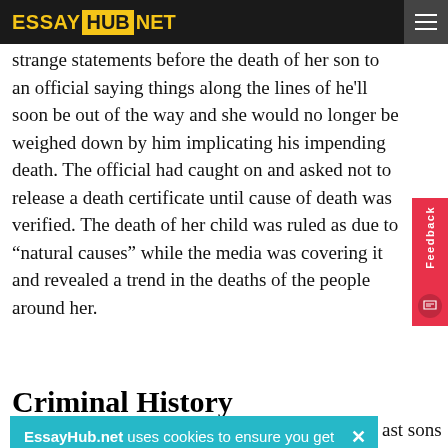ESSAY HUB NET
strange statements before the death of her son to an official saying things along the lines of he'll soon be out of the way and she would no longer be weighed down by him implicating his impending death. The official had caught on and asked not to release a death certificate until cause of death was verified. The death of her child was ruled as due to “natural causes” while the media was covering it and revealed a trend in the deaths of the people around her.
Criminal History
EssayHub.net uses cookies to ensure you get the best experience on our website
ast sons body trial but not d. She was the senic to